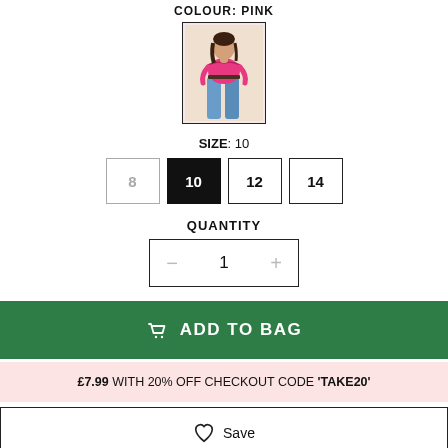COLOUR: PINK
[Figure (photo): Product photo of a woman wearing a pink off-shoulder top with blue jeans]
SIZE: 10
Size options: 8 (unavailable), 10 (selected), 12, 14
QUANTITY
Quantity control with minus and plus buttons showing value 1
ADD TO BAG
£7.99 WITH 20% OFF CHECKOUT CODE 'TAKE20'
Save